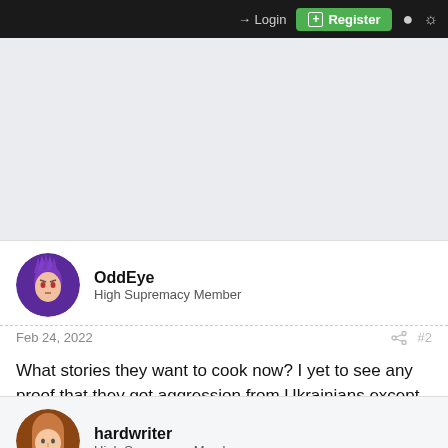Login  Register
[Figure (other): Gray banner/advertisement area]
OddEye
High Supremacy Member
Feb 24, 2022  #2
What stories they want to cook now? I yet to see any proof that they got aggression from Ukrainians except words
hardwriter
High Supremacy Member